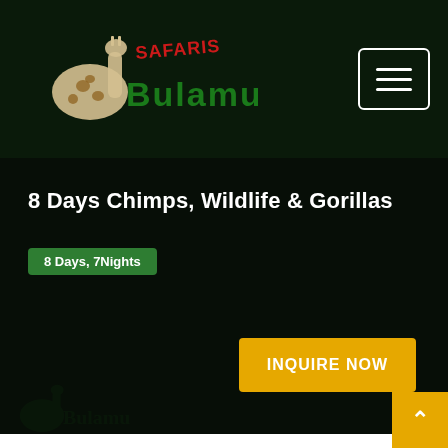[Figure (logo): Bulamu Safaris logo with giraffe silhouette and stylized text in green and red on dark background]
[Figure (other): Hamburger navigation menu button (three horizontal lines) in a white-bordered box]
8 Days Chimps, Wildlife & Gorillas
8 Days, 7Nights
INQUIRE NOW
[Figure (other): Scroll-to-top arrow button in orange/gold at bottom right]
[Figure (other): Partial watermark or logo image visible at bottom left of white content area]